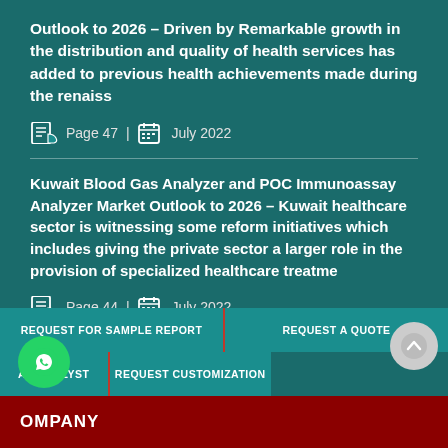Outlook to 2026 – Driven by Remarkable growth in the distribution and quality of health services has added to previous health achievements made during the renaiss
Page 47 | July 2022
Kuwait Blood Gas Analyzer and POC Immunoassay Analyzer Market Outlook to 2026 – Kuwait healthcare sector is witnessing some reform initiatives which includes giving the private sector a larger role in the provision of specialized healthcare treatme
Page 44 | July 2022
REQUEST FOR SAMPLE REPORT
REQUEST A QUOTE
AN ANALYST
REQUEST CUSTOMIZATION
OMPANY